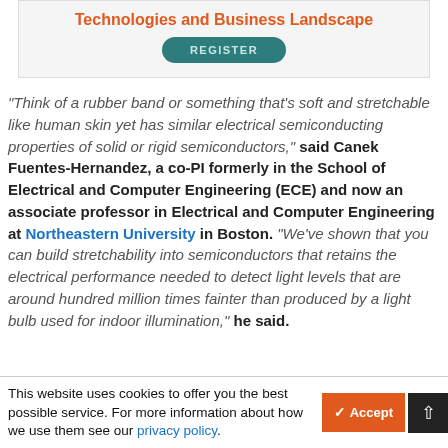[Figure (other): Banner with bold orange title 'Technologies and Business Landscape' and a teal REGISTER button]
"Think of a rubber band or something that's soft and stretchable like human skin yet has similar electrical semiconducting properties of solid or rigid semiconductors," said Canek Fuentes-Hernandez, a co-PI formerly in the School of Electrical and Computer Engineering (ECE) and now an associate professor in Electrical and Computer Engineering at Northeastern University in Boston. "We've shown that you can build stretchability into semiconductors that retains the electrical performance needed to detect light levels that are around hundred million times fainter than produced by a light bulb used for indoor illumination," he said.
This website uses cookies to offer you the best possible service. For more information about how we use them see our privacy policy.